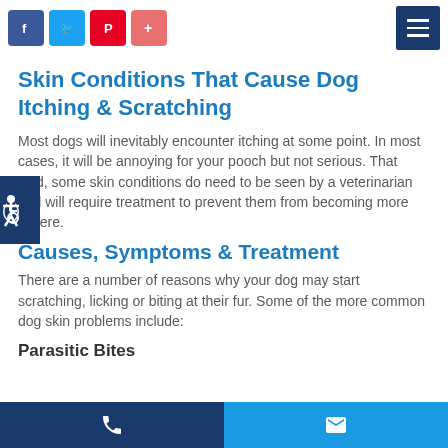Social share icons (Facebook, Twitter, Pinterest, +) and hamburger menu
Skin Conditions That Cause Dog Itching & Scratching
Most dogs will inevitably encounter itching at some point. In most cases, it will be annoying for your pooch but not serious. That said, some skin conditions do need to be seen by a veterinarian and will require treatment to prevent them from becoming more severe.
Causes, Symptoms & Treatment
There are a number of reasons why your dog may start scratching, licking or biting at their fur. Some of the more common dog skin problems include:
Parasitic Bites
Phone and email contact icons